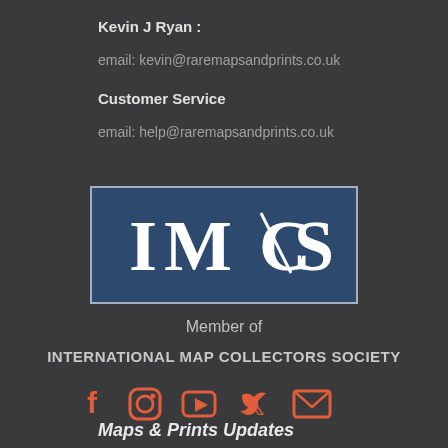Kevin J Ryan :
email: kevin@raremapsandprints.co.uk
Customer Service
email: help@raremapsandprints.co.uk
[Figure (logo): IMCS logo - International Map Collectors Society, dark blue rectangular badge with white letters IMCS]
Member of
INTERNATIONAL MAP COLLECTORS SOCIETY
[Figure (infographic): Social media icons: Facebook, Instagram, YouTube, Twitter, Email — in coral/orange color]
Maps & Prints Updates